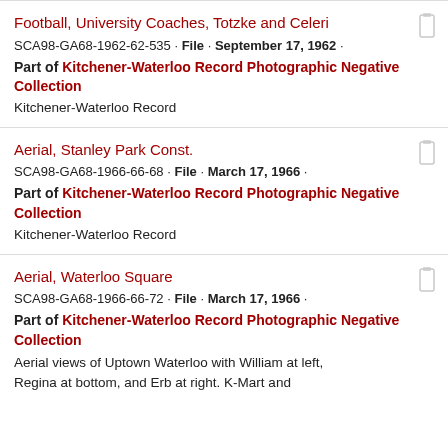Football, University Coaches, Totzke and Celeri
SCA98-GA68-1962-62-535 · File · September 17, 1962 · Part of Kitchener-Waterloo Record Photographic Negative Collection
Kitchener-Waterloo Record
Aerial, Stanley Park Const.
SCA98-GA68-1966-66-68 · File · March 17, 1966 · Part of Kitchener-Waterloo Record Photographic Negative Collection
Kitchener-Waterloo Record
Aerial, Waterloo Square
SCA98-GA68-1966-66-72 · File · March 17, 1966 · Part of Kitchener-Waterloo Record Photographic Negative Collection
Aerial views of Uptown Waterloo with William at left, Regina at bottom, and Erb at right. K-Mart and